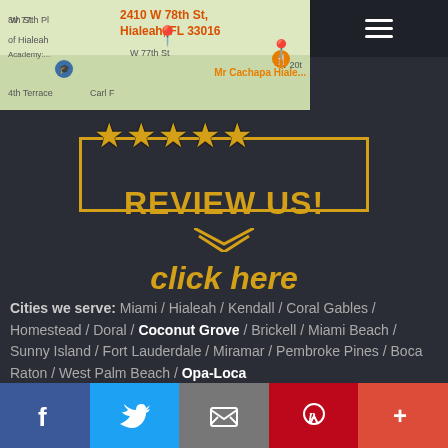[Figure (map): Google Maps showing 2410 W 78th St, Hialeah, FL 33016 with a red pin marker, nearby streets including W 77th St, W 77th Pl, W 74th Terrace, Carl F, and nearby locations including Mr Cachapa Hialeah]
[Figure (infographic): Five gold stars inside a rectangular bordered badge with the text REVIEW US! in bold gold letters, followed by click here in gold italic text below]
Cities we serve: Miami / Hialeah / Kendall / Coral Gables / Homestead / Doral / Coconut Grove / Brickell / Miami Beach / Sunny Island / Fort Lauderdale / Miramar / Pembroke Pines / Boca Raton / West Palm Beach / Opa-Loca
[Figure (infographic): Social media bar with Facebook, Twitter, Email, Pinterest, and More (+) buttons in blue, light blue, gray, red, and orange-red colors]